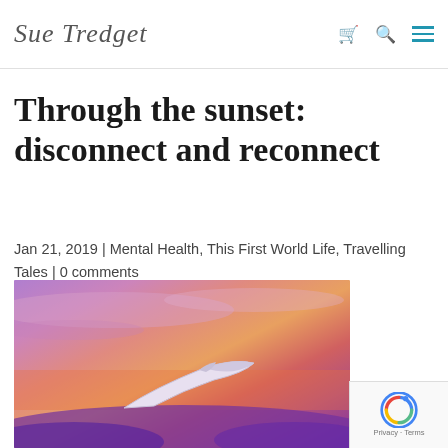Sue Tredget
Through the sunset: disconnect and reconnect
Jan 21, 2019 | Mental Health, This First World Life, Travelling Tales | 0 comments
[Figure (photo): Airplane wing viewed through window against a vivid pink, orange, and purple sunset sky with clouds below.]